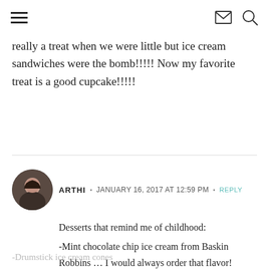navigation header with hamburger menu, mail icon, and search icon
really a treat when we were little but ice cream sandwiches were the bomb!!!!! Now my favorite treat is a good cupcake!!!!!
ARTHI · JANUARY 16, 2017 AT 12:59 PM · REPLY
Desserts that remind me of childhood:
-Mint chocolate chip ice cream from Baskin Robbins … I would always order that flavor!
-Drumstick ice cream cones
-Those strawberry shortcake ice cream bars!